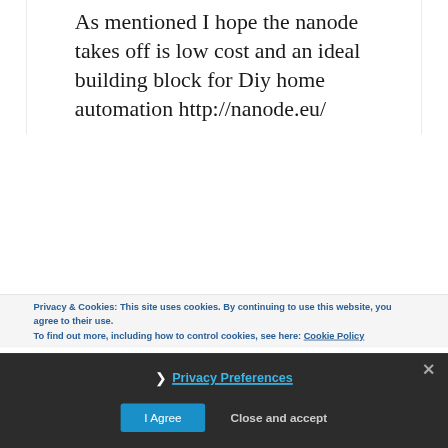As mentioned I hope the nanode takes off is low cost and an ideal building block for Diy home automation http://nanode.eu/
Privacy & Cookies: This site uses cookies. By continuing to use this website, you agree to their use. To find out more, including how to control cookies, see here: Cookie Policy
❯ Privacy Preferences
I Agree
Close and accept